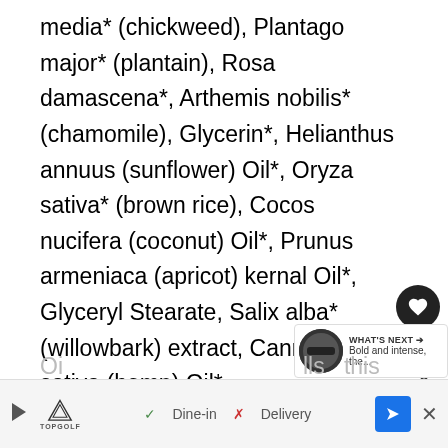media* (chickweed), Plantago major* (plantain), Rosa damascena*, Arthemis nobilis* (chamomile), Glycerin*, Helianthus annuus (sunflower) Oil*, Oryza sativa* (brown rice), Cocos nucifera (coconut) Oil*, Prunus armeniaca (apricot) kernal Oil*, Glyceryl Stearate, Salix alba* (willowbark) extract, Cannabis sativa (hemp) Oil*, Leuconostoc/Radish Root Ferment Filtrate, Cetearyl Alcohol, Echinacea purpurea Extract*, Essential Oils of Lavandula angustifolia, Litsea Cubeba, Cymbopogon martini (palmarosa), Canarium luzonicum (elemi), Boswellia carterii (frankincense), Vetiveria zizandoides (vetiver), Xanthan Gum, Rosemary